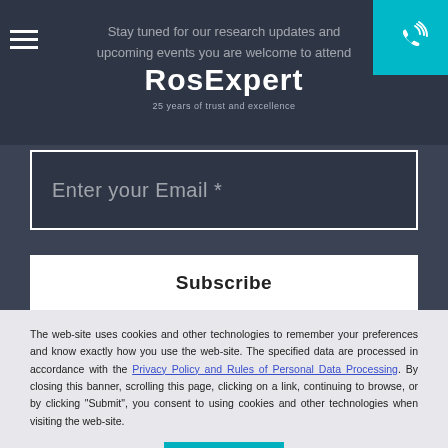RosExpert
25 years of trust and excellence
Stay tuned for our research updates and upcoming events you are welcome to attend
Enter your Email *
Subscribe
The web-site uses cookies and other technologies to remember your preferences and know exactly how you use the web-site. The specified data are processed in accordance with the Privacy Policy and Rules of Personal Data Processing. By closing this banner, scrolling this page, clicking on a link, continuing to browse, or by clicking "Submit", you consent to using cookies and other technologies when visiting the web-site.
Submit